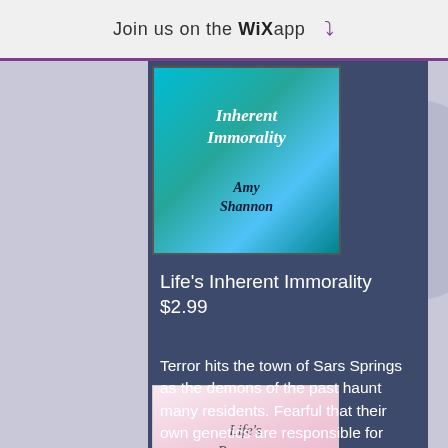Join us on the WiX app ↓
[Figure (illustration): Book cover for 'Life's Inherent Immorality' by Amy Shannon — teal/blue illustrated cover with italic text]
Life's Inherent Immorality
$2.99
Terror hits the town of Sars Springs as the demons of the past haunt many residents. Fearful that their own genetics are responsible for who they are and who they don't want to be, some will go to any length to get rid of who they are inside.
[Figure (illustration): Book cover for 'Life's Passages' — pink/floral illustrated cover with italic script text]